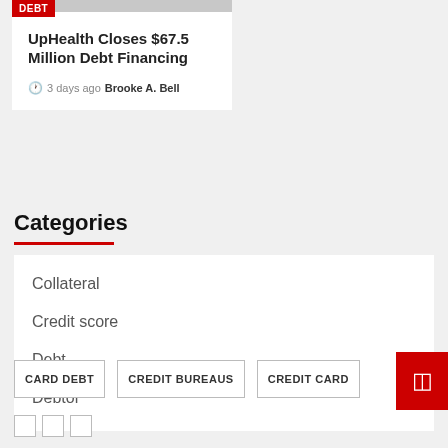UpHealth Closes $67.5 Million Debt Financing
3 days ago  Brooke A. Bell
Categories
Collateral
Credit score
Debt
Debtor
CARD DEBT   CREDIT BUREAUS   CREDIT CARD